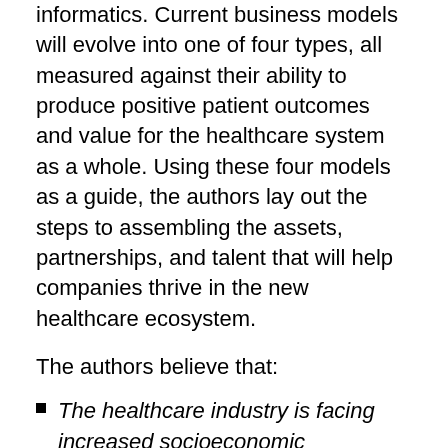informatics. Current business models will evolve into one of four types, all measured against their ability to produce positive patient outcomes and value for the healthcare system as a whole. Using these four models as a guide, the authors lay out the steps to assembling the assets, partnerships, and talent that will help companies thrive in the new healthcare ecosystem.
The authors believe that:
The healthcare industry is facing increased socioeconomic pressures. Costs are skyrocketing, populations are aging, and chronic comorbidity is becoming the norm. The system is moving from a fee-for-service to an outcomes-based marketplace, and digital technology is facilitating this change.
Leaders need to clarify their organizations' roles in